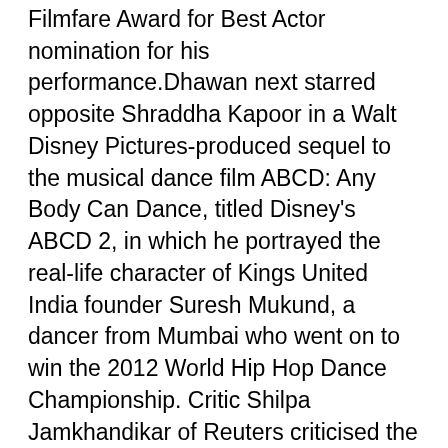Filmfare Award for Best Actor nomination for his performance.Dhawan next starred opposite Shraddha Kapoor in a Walt Disney Pictures-produced sequel to the musical dance film ABCD: Any Body Can Dance, titled Disney's ABCD 2, in which he portrayed the real-life character of Kings United India founder Suresh Mukund, a dancer from Mumbai who went on to win the 2012 World Hip Hop Dance Championship. Critic Shilpa Jamkhandikar of Reuters criticised the feature, finding Dhawan to be the only asset of the film, writing that "except for the honest note he strikes, the rest of the film could have been just a bunch of music videos". ABCD 2 earned ₹1.57 billion (US$21 million) worldwide; the film's commercial performance led Box Office India to consider it an emergence of Dhawan's star power; he and Kapoor were eventually the only actors among their contemporaries to star in a live-action Disney film. His final appearance that year was in Rohit Shetty's ensemble action drama Dilwale, co-starring Shah Rukh Khan, Kajol and Kriti Sanon, in which he played the younger sibling of Khan's character,